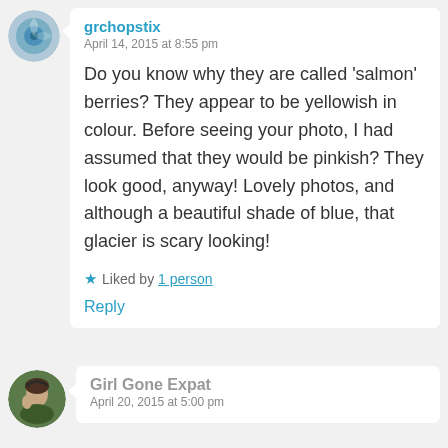grchopstix
April 14, 2015 at 8:55 pm
Do you know why they are called 'salmon' berries? They appear to be yellowish in colour. Before seeing your photo, I had assumed that they would be pinkish? They look good, anyway! Lovely photos, and although a beautiful shade of blue, that glacier is scary looking!
Liked by 1 person
Reply
Girl Gone Expat
April 20, 2015 at 5:00 pm